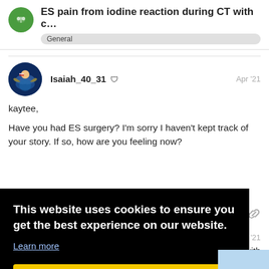ES pain from iodine reaction during CT with c...
General
Isaiah_40_31  Apr '21
kaytee,
Have you had ES surgery? I'm sorry I haven't kept track of your story. If so, how are you feeling now?
Apr '21
vith be
This website uses cookies to ensure you get the best experience on our website. Learn more Got it!